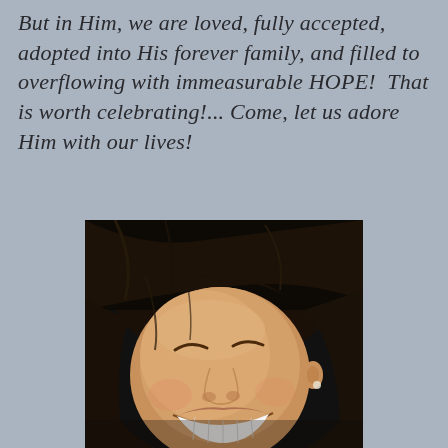But in Him, we are loved, fully accepted, adopted into His forever family, and filled to overflowing with immeasurable HOPE! That is worth celebrating!... Come, let us adore Him with our lives!
[Figure (photo): Close-up photo of a woman with dark hair laughing joyfully, eyes closed, showing teeth, photographed from slightly above.]